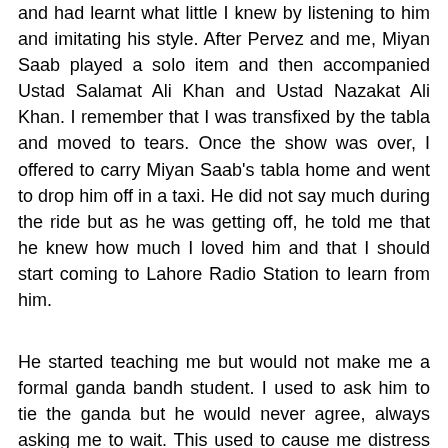and had learnt what little I knew by listening to him and imitating his style. After Pervez and me, Miyan Saab played a solo item and then accompanied Ustad Salamat Ali Khan and Ustad Nazakat Ali Khan. I remember that I was transfixed by the tabla and moved to tears. Once the show was over, I offered to carry Miyan Saab's tabla home and went to drop him off in a taxi. He did not say much during the ride but as he was getting off, he told me that he knew how much I loved him and that I should start coming to Lahore Radio Station to learn from him.
He started teaching me but would not make me a formal ganda bandh student. I used to ask him to tie the ganda but he would never agree, always asking me to wait. This used to cause me distress and it was only years later that I understood that he wanted to delay my ganda bandhan to a time when I would be able to play in front of major musicians and create a stir in the music world. Eight (8) years later, he agreed to make me his student formally. The event was attended by Inayati Khan, Baba Tufail Naorwaliya, Ghulam Ali and most major musicians of the time. It was here that Miyan Saab...